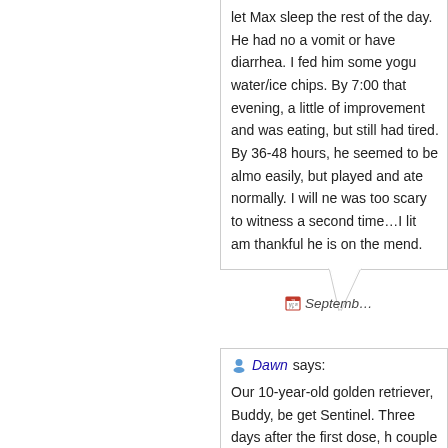let Max sleep the rest of the day. He had no a vomit or have diarrhea. I fed him some yogu water/ice chips. By 7:00 that evening, a little of improvement and was eating, but still had tired. By 36-48 hours, he seemed to be almo easily, but played and ate normally. I will ne was too scary to witness a second time…I lit am thankful he is on the mend.
Septemb…
Dawn says:
Our 10-year-old golden retriever, Buddy, be get Sentinel. Three days after the first dose, h couple of days; but I concluded that he was s second dose of Trifexis, he was extremely let for 20 hours! At times, he panted heavily. Th Trifexis. He said to split the dose next time s